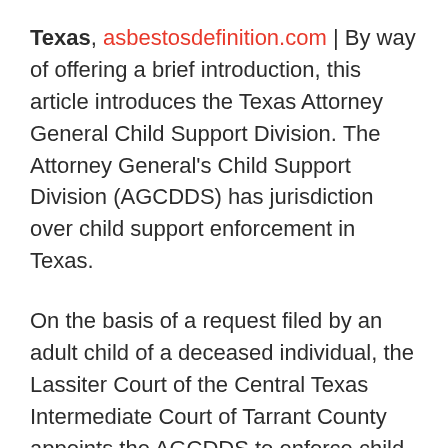Texas, asbestosdefinition.com | By way of offering a brief introduction, this article introduces the Texas Attorney General Child Support Division. The Attorney General's Child Support Division (AGCDDS) has jurisdiction over child support enforcement in Texas.
On the basis of a request filed by an adult child of a deceased individual, the Lassiter Court of the Central Texas Intermediate Court of Tarrant County appoints the AGCDDS to enforce child support orders for a deceased person's dependent children.
The child support division has jurisdiction over